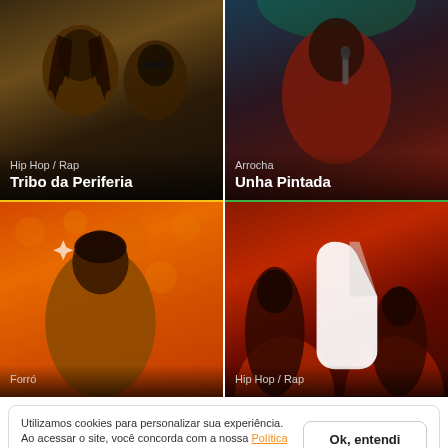[Figure (photo): Hip Hop/Rap card showing two men with dreadlocks on dark background, label: Hip Hop / Rap, Tribo da Periferia]
[Figure (photo): Arrocha card showing a man singing into microphone with red jacket on green-lit stage, label: Arrocha, Unha Pintada]
[Figure (photo): Forró card showing a man on orange/warm background, label: Forró]
[Figure (photo): Hip Hop/Rap card showing performers on red-lit stage with a large white logo/icon, label: Hip Hop / Rap]
Utilizamos cookies para personalizar sua experiência. Ao acessar o site, você concorda com a nossa Política de Privacidade.
Ok, entendi
Cifra Club Academy
O ensino de música que cabe no seu tempo e no seu bolso!